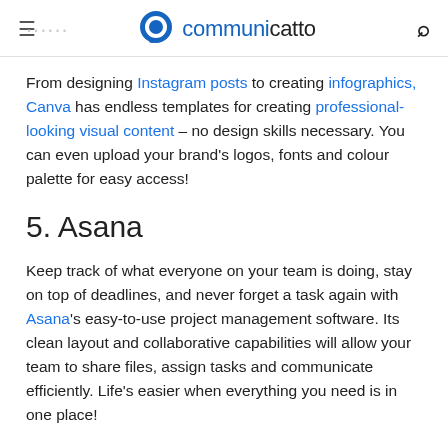communicatto
From designing Instagram posts to creating infographics, Canva has endless templates for creating professional-looking visual content – no design skills necessary. You can even upload your brand's logos, fonts and colour palette for easy access!
5. Asana
Keep track of what everyone on your team is doing, stay on top of deadlines, and never forget a task again with Asana's easy-to-use project management software. Its clean layout and collaborative capabilities will allow your team to share files, assign tasks and communicate efficiently. Life's easier when everything you need is in one place!